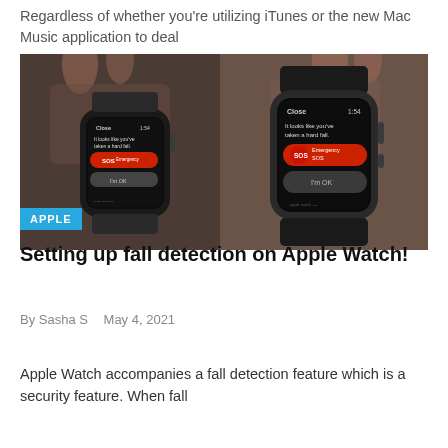Regardless of whether you're utilizing iTunes or the new Mac Music application to deal
[Figure (photo): Two Apple Watch devices showing fall detection alert screens with 'Close', '1:54', 'It looks like you've taken a hard fall.' message, SOS button in red, and 'I'm OK' button on dark background.]
APPLE
Setting up fall detection on Apple Watch!
By Sasha S   May 4, 2021
Apple Watch accompanies a fall detection feature which is a security feature. When fall